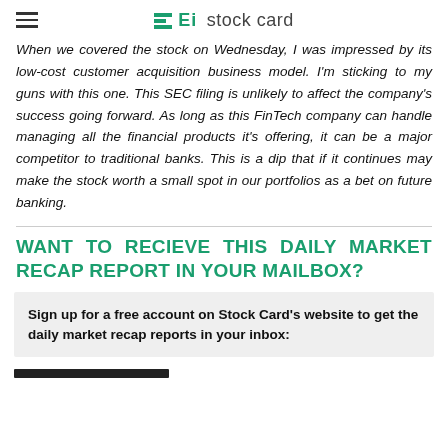Ei stock card
When we covered the stock on Wednesday, I was impressed by its low-cost customer acquisition business model. I'm sticking to my guns with this one. This SEC filing is unlikely to affect the company's success going forward. As long as this FinTech company can handle managing all the financial products it's offering, it can be a major competitor to traditional banks. This is a dip that if it continues may make the stock worth a small spot in our portfolios as a bet on future banking.
WANT TO RECIEVE THIS DAILY MARKET RECAP REPORT IN YOUR MAILBOX?
Sign up for a free account on Stock Card's website to get the daily market recap reports in your inbox: